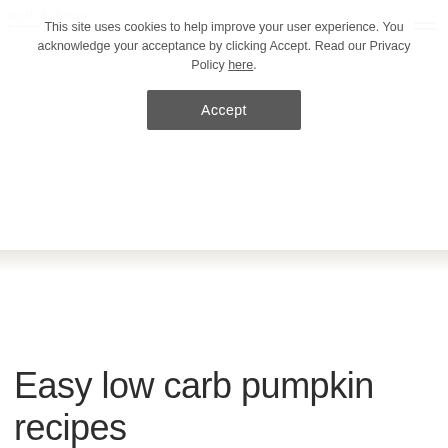Myth & Honey Nutrition
This site uses cookies to help improve your user experience. You acknowledge your acceptance by clicking Accept. Read our Privacy Policy here.
Accept
Easy low carb pumpkin recipes